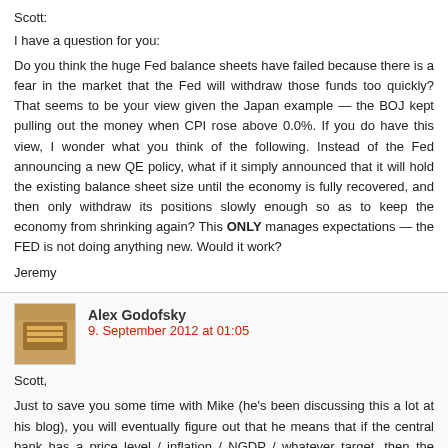Scott:
I have a question for you:
Do you think the huge Fed balance sheets have failed because there is a fear in the market that the Fed will withdraw those funds too quickly? That seems to be your view given the Japan example — the BOJ kept pulling out the money when CPI rose above 0.0%. If you do have this view, I wonder what you think of the following. Instead of the Fed announcing a new QE policy, what if it simply announced that it will hold the existing balance sheet size until the economy is fully recovered, and then only withdraw its positions slowly enough so as to keep the economy from shrinking again? This ONLY manages expectations — the FED is not doing anything new. Would it work?
Jeremy
Alex Godofsky
9. September 2012 at 01:05
Scott,
Just to save you some time with Mike (he's been discussing this a lot at his blog), you will eventually figure out that he means that if the central bank has a price level / inflation / NGDP / whatever target, then the monetary base is endogenous in the sense that the Fed can't set the size of the base